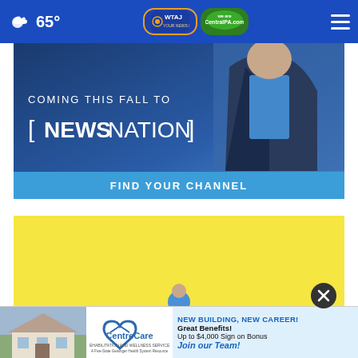65° — WTAJ / CentralPA.com header navigation bar
[Figure (photo): NewsNation promotional banner: 'COMING THIS FALL TO [NEWSNATION] FIND YOUR CHANNEL' with a man in a suit on a blue gradient background]
[Figure (photo): Yellow advertisement block placeholder]
[Figure (photo): CentreCare advertisement: 'NEW BUILDING, NEW CAREER! Great Benefits! Up to $4,000 Sign on Bonus Join our Team!' with house photo and CentreCare logo]